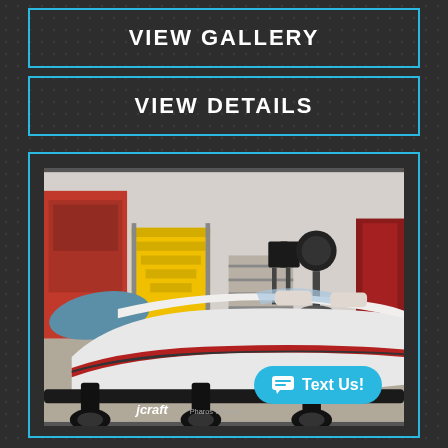VIEW GALLERY
VIEW DETAILS
[Figure (photo): A white and red speedboat (J-Craft brand) sitting on a black trailer inside what appears to be a boat workshop or dealership. The boat has a sleek design with red striping along the hull. In the background are yellow stairs, shelving units, speakers on stands, and a red door. The workshop floor is light colored concrete.]
Text Us!